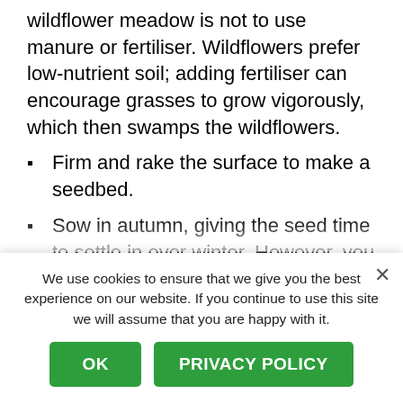wildflower meadow is not to use manure or fertiliser. Wildflowers prefer low-nutrient soil; adding fertiliser can encourage grasses to grow vigorously, which then swamps the wildflowers.
Firm and rake the surface to make a seedbed.
Sow in autumn, giving the seed time to settle in over winter. However, you can sow in spring and it is better if you are on heavy clay. Even large areas can be sown by hand quite easily.
Ensure that the seed is scattered evenly by sowing half lengthways and the remaining half widthways
We use cookies to ensure that we give you the best experience on our website. If you continue to use this site we will assume that you are happy with it.